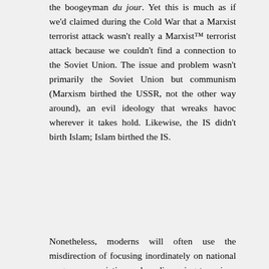the boogeyman du jour. Yet this is much as if we'd claimed during the Cold War that a Marxist terrorist attack wasn't really a Marxist™ terrorist attack because we couldn't find a connection to the Soviet Union. The issue and problem wasn't primarily the Soviet Union but communism (Marxism birthed the USSR, not the other way around), an evil ideology that wreaks havoc wherever it takes hold. Likewise, the IS didn't birth Islam; Islam birthed the IS.
Nonetheless, moderns will often use the misdirection of focusing inordinately on national or group associations when discussing terrorism. This is a dodge, one designed to help us avoid uncomfortable truths, and which relegates us to playing an eternal game of whack-a-mole. The USSR is